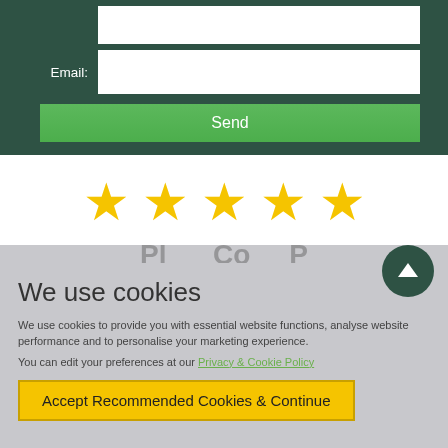[Figure (screenshot): Dark green form section with Email label and white input field, plus a green Send button]
[Figure (infographic): Five gold/yellow star rating icons in a row on white background]
We use cookies
We use cookies to provide you with essential website functions, analyse website performance and to personalise your marketing experience.
You can edit your preferences at our Privacy & Cookie Policy
Accept Recommended Cookies & Continue